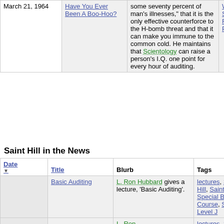| Date | Title | Blurb | Tags |
| --- | --- | --- | --- |
| March 21, 1964 | Have You Ever Been A Boo-Hoo? | some seventy percent of man's illnesses," that it is the only effective counterforce to the H-bomb threat and that it can make you immune to the common cold. He maintains that Scientology can raise a person's I.Q. one point for every hour of auditing. | What Is Scientology?, L. Ron Hubbard, Press, Saint Hill |
Saint Hill in the News
| Date | Title | Blurb | Tags |
| --- | --- | --- | --- |
|  | Basic Auditing | L. Ron Hubbard gives a lecture, 'Basic Auditing'. | lectures, Saint Hill, Saint Hill Special Briefing Course, SHSBC Level J |
|  |  | L. Ron | lectures, Saint Hill, Saint |